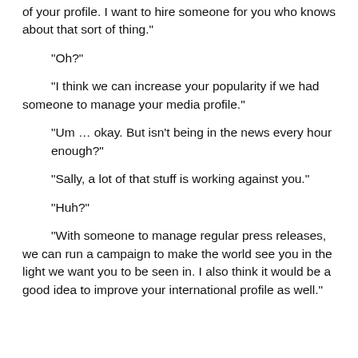of your profile. I want to hire someone for you who knows about that sort of thing."
"Oh?"
"I think we can increase your popularity if we had someone to manage your media profile."
"Um … okay. But isn't being in the news every hour enough?"
"Sally, a lot of that stuff is working against you."
"Huh?"
"With someone to manage regular press releases, we can run a campaign to make the world see you in the light we want you to be seen in. I also think it would be a good idea to improve your international profile as well."